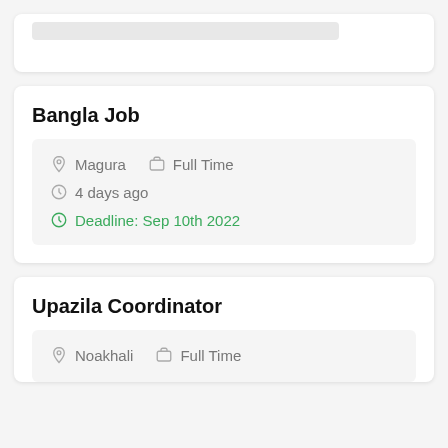Bangla Job
Magura  Full Time  4 days ago  Deadline: Sep 10th 2022
Upazila Coordinator
Noakhali  Full Time